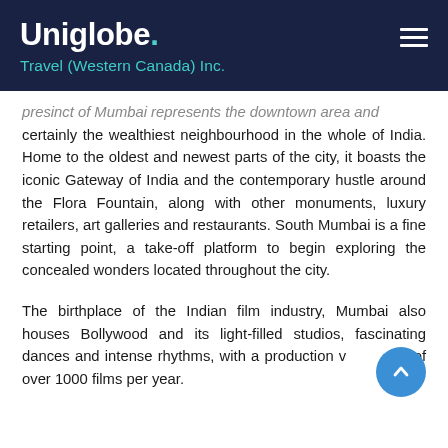Uniglobe. Travel (Western Canada) Inc.
presinct of Mumbai represents the downtown area and certainly the wealthiest neighbourhood in the whole of India. Home to the oldest and newest parts of the city, it boasts the iconic Gateway of India and the contemporary hustle around the Flora Fountain, along with other monuments, luxury retailers, art galleries and restaurants. South Mumbai is a fine starting point, a take-off platform to begin exploring the concealed wonders located throughout the city.
The birthplace of the Indian film industry, Mumbai also houses Bollywood and its light-filled studios, fascinating dances and intense rhythms, with a production value of over 1000 films per year.